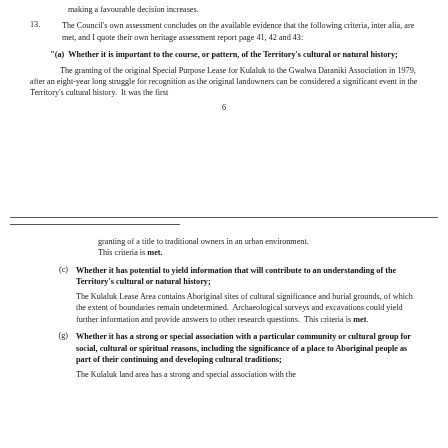making a favourable decision increases.
13. The Council's own assessment concludes on the available evidence that the following criteria, inter alia, are met, and I quote their own heritage assessment report page 41, 42 and 43:
"(a) Whether it is important to the course, or pattern, of the Territory's cultural or natural history;
The granting of the original Special Purpose Lease for Kulaluk to the Gwalwa Daraniki Association in 1979, after an eight-year long struggle for recognition as the original landowners can be considered a significant event in the Territory's cultural history. It was the first
6
granting of a title to traditional owners in an urban environment. This criteria is met.
(c) Whether it has potential to yield information that will contribute to an understanding of the Territory's cultural or natural history;
The Kulaluk Lease Area contains Aboriginal sites of cultural significance and burial grounds, of which the extent of boundaries remain undetermined. Archaeological surveys and excavations could yield further information and provide answers to other research questions. This criteria is met.
(g) Whether it has a strong or special association with a particular community or cultural group for social, cultural or spiritual reasons, including the significance of a place to Aboriginal people as part of their continuing and developing cultural traditions;
The Kulaluk land area has a strong and special association with the